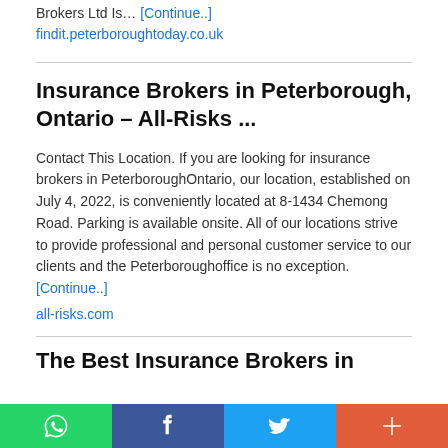Brokers Ltd Is… [Continue..]
findit.peterboroughtoday.co.uk
Insurance Brokers in Peterborough, Ontario – All-Risks ...
Contact This Location. If you are looking for insurance brokers in PeterboroughOntario, our location, established on July 4, 2022, is conveniently located at 8-1434 Chemong Road. Parking is available onsite. All of our locations strive to provide professional and personal customer service to our clients and the Peterboroughoffice is no exception. [Continue..]
all-risks.com
The Best Insurance Brokers in